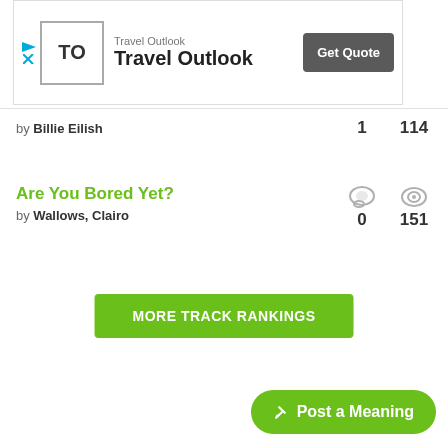[Figure (other): Travel Outlook advertisement banner with logo, brand name, and Get Quote button]
by Billie Eilish   1   114
Are You Bored Yet?
by Wallows, Clairo   0   151
MORE TRACK RANKINGS
Post a Meaning